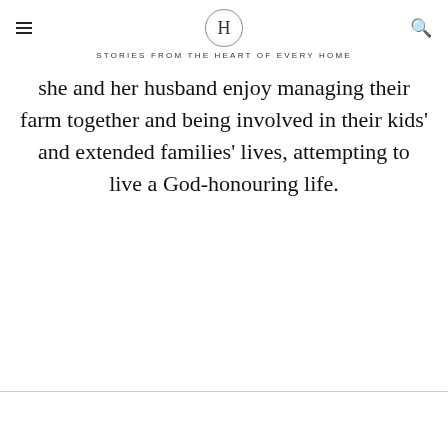H — STORIES FROM THE HEART OF EVERY HOME
she and her husband enjoy managing their farm together and being involved in their kids' and extended families' lives, attempting to live a God-honouring life.